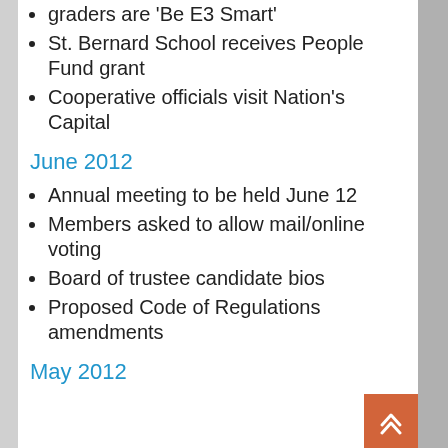graders are 'Be E3 Smart'
St. Bernard School receives People Fund grant
Cooperative officials visit Nation's Capital
June 2012
Annual meeting to be held June 12
Members asked to allow mail/online voting
Board of trustee candidate bios
Proposed Code of Regulations amendments
May 2012